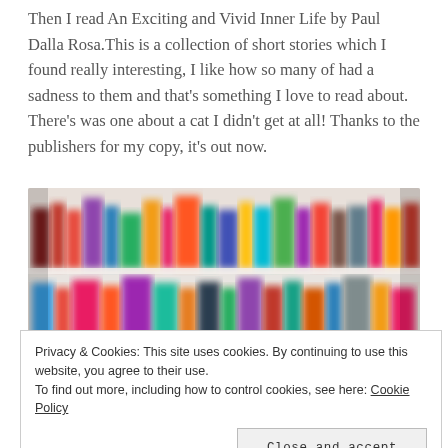Then I read An Exciting and Vivid Inner Life by Paul Dalla Rosa.This is a collection of short stories which I found really interesting, I like how so many of had a sadness to them and that's something I love to read about. There's was one about a cat I didn't get at all! Thanks to the publishers for my copy, it's out now.
[Figure (photo): A blurred/defocused photo of a white bookshelf filled with colorful books of various sizes arranged in rows.]
Privacy & Cookies: This site uses cookies. By continuing to use this website, you agree to their use.
To find out more, including how to control cookies, see here: Cookie Policy

Close and accept